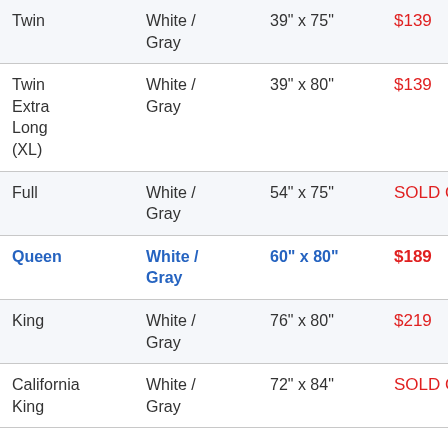| Size | Color | Dimensions | Price |
| --- | --- | --- | --- |
| Twin | White / Gray | 39" x 75" | $139 |
| Twin Extra Long (XL) | White / Gray | 39" x 80" | $139 |
| Full | White / Gray | 54" x 75" | SOLD OUT |
| Queen | White / Gray | 60" x 80" | $189 |
| King | White / Gray | 76" x 80" | $219 |
| California King | White / Gray | 72" x 84" | SOLD OUT |